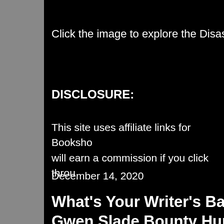Click the image to explore the Disaster c
DISCLOSURE:
This site uses affiliate links for Booksho will earn a commission if you click throu
December 14, 2020
What's Your Writer's Bane Gwen Slade Bounty Hunte